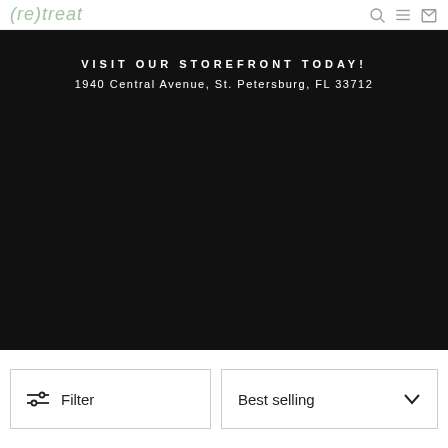(re)treat — navigation with search, menu, and cart icons
VISIT OUR STOREFRONT TODAY!
1940 Central Avenue, St. Petersburg, FL 33712
Filter
Best selling